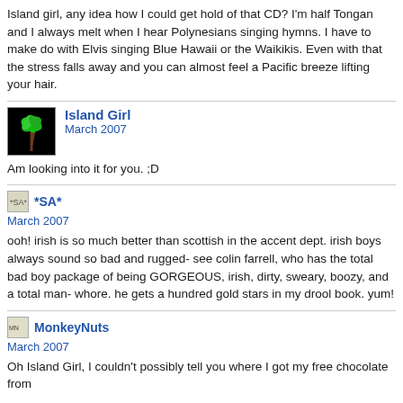Island girl, any idea how I could get hold of that CD? I'm half Tongan and I always melt when I hear Polynesians singing hymns. I have to make do with Elvis singing Blue Hawaii or the Waikikis. Even with that the stress falls away and you can almost feel a Pacific breeze lifting your hair.
Island Girl
March 2007
Am looking into it for you. ;D
*SA*
March 2007
ooh! irish is so much better than scottish in the accent dept. irish boys always sound so bad and rugged- see colin farrell, who has the total bad boy package of being GORGEOUS, irish, dirty, sweary, boozy, and a total man-whore. he gets a hundred gold stars in my drool book. yum!
MonkeyNuts
March 2007
Oh Island Girl, I couldn't possibly tell you where I got my free chocolate from